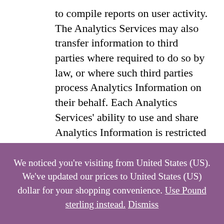to compile reports on user activity. The Analytics Services may also transfer information to third parties where required to do so by law, or where such third parties process Analytics Information on their behalf. Each Analytics Services' ability to use and share Analytics Information is restricted by such Analytics Services' Terms of Use and Privacy Policy. By using our Service, you consent to the
We noticed you're visiting from United States (US). We've updated our prices to United States (US) dollar for your shopping convenience. Use Pound sterling instead. Dismiss